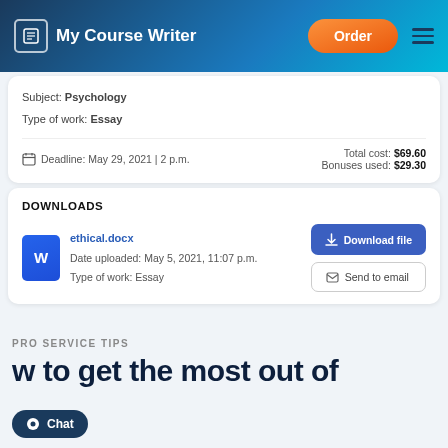My Course Writer — Order
Subject: Psychology
Type of work: Essay
Deadline: May 29, 2021 | 2 p.m.    Total cost: $69.60    Bonuses used: $29.30
DOWNLOADS
ethical.docx
Date uploaded: May 5, 2021, 11:07 p.m.
Type of work: Essay
Download file   Send to email
PRO SERVICE TIPS
w to get the most out of